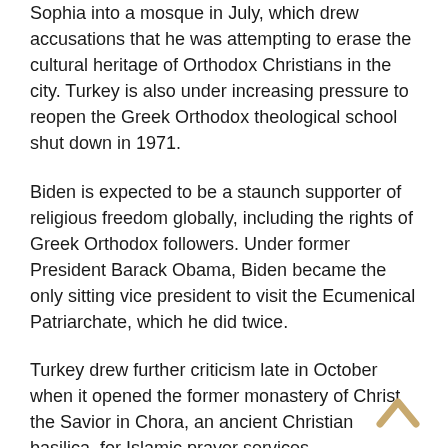Sophia into a mosque in July, which drew accusations that he was attempting to erase the cultural heritage of Orthodox Christians in the city. Turkey is also under increasing pressure to reopen the Greek Orthodox theological school shut down in 1971.
Biden is expected to be a staunch supporter of religious freedom globally, including the rights of Greek Orthodox followers. Under former President Barack Obama, Biden became the only sitting vice president to visit the Ecumenical Patriarchate, which he did twice.
Turkey drew further criticism late in October when it opened the former monastery of Christ the Savior in Chora, an ancient Christian basilica, for Islamic prayer services, compromising the building's architectural and historical value. That decision was